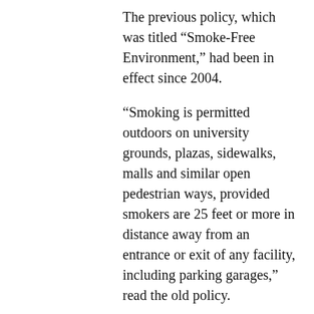The previous policy, which was titled “Smoke-Free Environment,” had been in effect since 2004.
“Smoking is permitted outdoors on university grounds, plazas, sidewalks, malls and similar open pedestrian ways, provided smokers are 25 feet or more in distance away from an entrance or exit of any facility, including parking garages,” read the old policy.
The new updates apply the same rules to vaping and e-cigarettes.
Senior communication major Frank Venzor said that he thinks the ban is a good thing. Venzor used to smoke